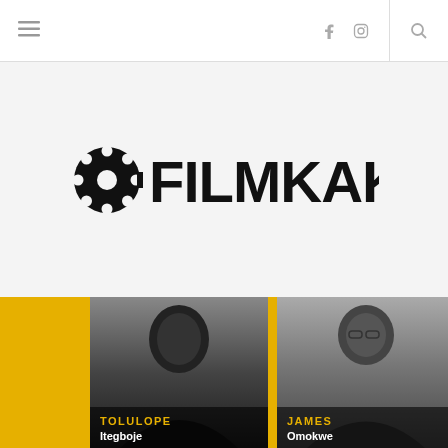Filmkaku website header with hamburger menu, Facebook and Instagram icons, and search icon
[Figure (logo): FILMKAKU logo with film reel icon replacing the letter O in a bold black wordmark]
[Figure (photo): Black and white portrait photo of Tolulope Itegboje with name label overlay showing TOLULOPE in yellow and Itegboje in white on dark background]
[Figure (photo): Black and white portrait photo of James Omokwe with name label overlay showing JAMES in yellow and Omokwe in white on dark background]